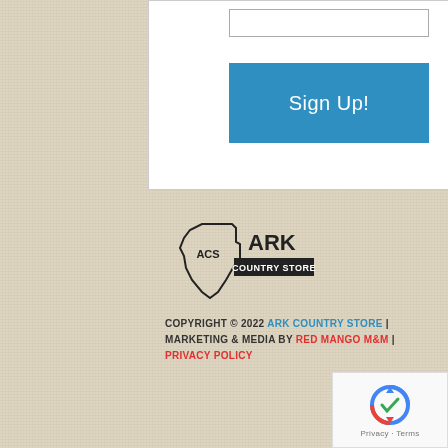[Figure (screenshot): White card area with an input text field at the top and a blue 'Sign Up!' button below it, on a beige textured background.]
[Figure (logo): Ark Country Store logo: Texas state outline with 'ACS' inside, and 'ARK COUNTRY STORE' text to the right in bold serif font with a black background banner.]
COPYRIGHT © 2022 ARK COUNTRY STORE | MARKETING & MEDIA BY RED MANGO M&M | PRIVACY POLICY
[Figure (logo): Google reCAPTCHA badge showing the reCAPTCHA logo (circular arrows) with 'Privacy - Terms' text below.]